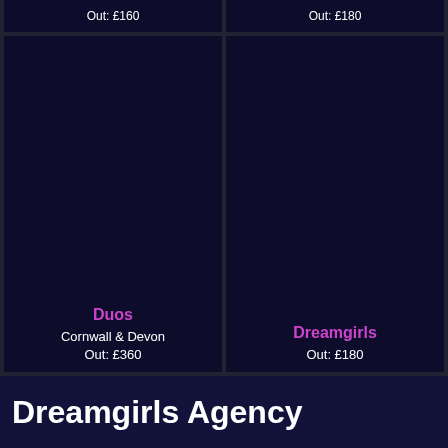Out: £160
Out: £180
Duos
Cornwall & Devon
Out: £360
Dreamgirls
Out: £180
Dreamgirls Agency